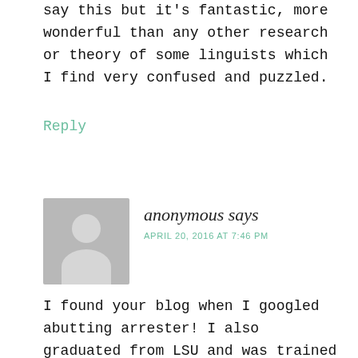say this but it's fantastic, more wonderful than any other research or theory of some linguists which I find very confused and puzzled.
Reply
[Figure (illustration): Grey avatar placeholder image showing silhouette of a person]
anonymous says
APRIL 20, 2016 AT 7:46 PM
I found your blog when I googled abutting arrester! I also graduated from LSU and was trained by Dr.